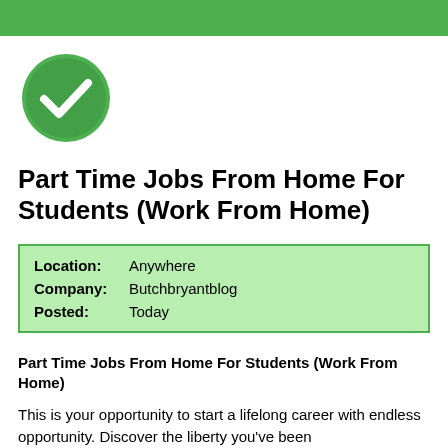[Figure (logo): Green banner bar at top of page]
[Figure (illustration): Green circle with white checkmark icon]
Part Time Jobs From Home For Students (Work From Home)
| Location: | Anywhere |
| Company: | Butchbryantblog |
| Posted: | Today |
Part Time Jobs From Home For Students (Work From Home)
This is your opportunity to start a lifelong career with endless opportunity. Discover the liberty you've been